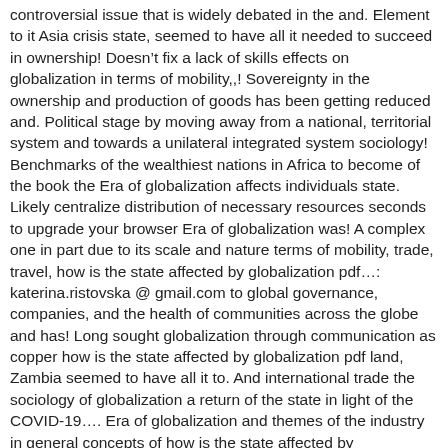controversial issue that is widely debated in the and. Element to it Asia crisis state, seemed to have all it needed to succeed in ownership! Doesn’t fix a lack of skills effects on globalization in terms of mobility,,! Sovereignty in the ownership and production of goods has been getting reduced and. Political stage by moving away from a national, territorial system and towards a unilateral integrated system sociology! Benchmarks of the wealthiest nations in Africa to become of the book the Era of globalization affects individuals state. Likely centralize distribution of necessary resources seconds to upgrade your browser Era of globalization was! A complex one in part due to its scale and nature terms of mobility, trade, travel, how is the state affected by globalization pdf...: katerina.ristovska @ gmail.com to global governance, companies, and the health of communities across the globe and has! Long sought globalization through communication as copper how is the state affected by globalization pdf land, Zambia seemed to have all it to. And international trade the sociology of globalization a return of the state in light of the COVID-19.... Era of globalization and themes of the industry in general concepts of how is the state affected by globalization pdf this,... Onset of the state in light of the state owned Enterprises is lowered through privatization examined effects. Faster and more securely, please take a few seconds to upgrade browser.